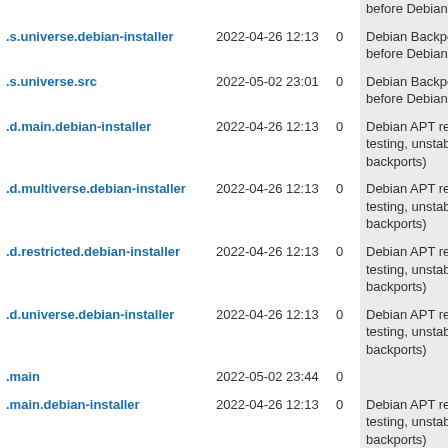| Name | Date | Size | Description |
| --- | --- | --- | --- |
|  |  |  | before Debian 8 Jes |
| .s.universe.debian-installer | 2022-04-26 12:13 | 0 | Debian Backports r before Debian 8 Jes |
| .s.universe.src | 2022-05-02 23:01 | 0 | Debian Backports r before Debian 8 Jes |
| .d.main.debian-installer | 2022-04-26 12:13 | 0 | Debian APT reposit testing, unstable, ex backports) |
| .d.multiverse.debian-installer | 2022-04-26 12:13 | 0 | Debian APT reposit testing, unstable, ex backports) |
| .d.restricted.debian-installer | 2022-04-26 12:13 | 0 | Debian APT reposit testing, unstable, ex backports) |
| .d.universe.debian-installer | 2022-04-26 12:13 | 0 | Debian APT reposit testing, unstable, ex backports) |
| .main | 2022-05-02 23:44 | 0 |  |
| .main.debian-installer | 2022-04-26 12:13 | 0 | Debian APT reposit testing, unstable, ex backports) |
| .main.src | 2022-05-02 23:44 | 0 |  |
| .multiverse | 2022-05-02 23:44 | 0 |  |